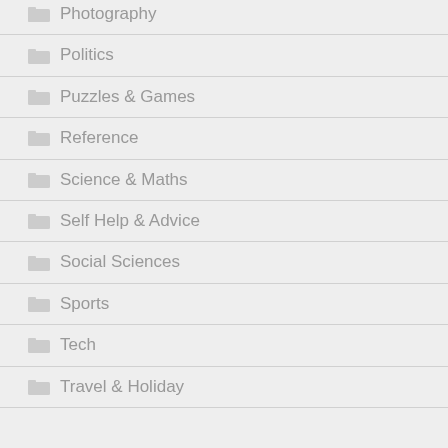Photography
Politics
Puzzles & Games
Reference
Science & Maths
Self Help & Advice
Social Sciences
Sports
Tech
Travel & Holiday